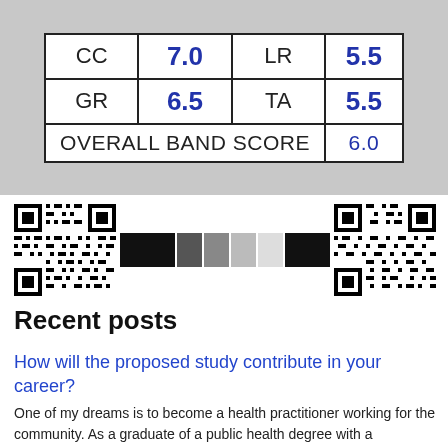| CC | 7.0 | LR | 5.5 |
| --- | --- | --- | --- |
| CC | 7.0 | LR | 5.5 |
| GR | 6.5 | TA | 5.5 |
| OVERALL BAND SCORE |  |  | 6.0 |
[Figure (other): QR code on the left]
[Figure (other): Grayscale barcode strip in center]
[Figure (other): QR code on the right]
Recent posts
How will the proposed study contribute in your career?
One of my dreams is to become a health practitioner working for the community. As a graduate of a public health degree with a concentration in epidemiology, I believe and believe that with my